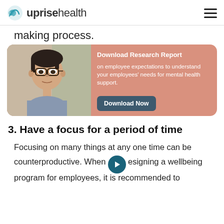uprise health
making process.
[Figure (infographic): Promotional card with photo of a young Asian man wearing glasses, alongside text: 'Download Research Report on employee expectations to understand your employees' needs for mental health support.' and a 'Download Now' button.]
3. Have a focus for a period of time
Focusing on many things at any one time can be counterproductive. When designing a wellbeing program for employees, it is recommended to